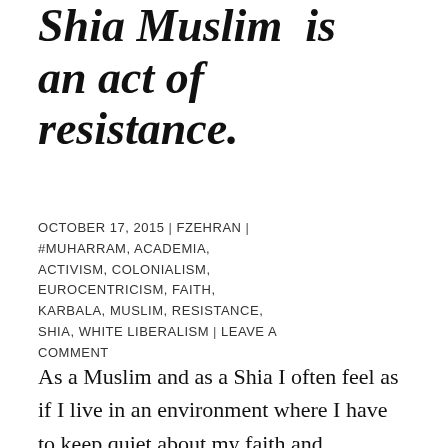Shia Muslim  is an act of resistance.
OCTOBER 17, 2015 | FZEHRAN | #MUHARRAM, ACADEMIA, ACTIVISM, COLONIALISM, EUROCENTRICISM, FAITH, KARBALA, MUSLIM, RESISTANCE, SHIA, WHITE LIBERALISM | LEAVE A COMMENT
As a Muslim and as a Shia I often feel as if I live in an environment where I have to keep quiet about my faith and spirituality. Within Muslim circles, talking about being Shia is looked upon as inciting sectarianism and division and has lead to the further marginalization of Shia